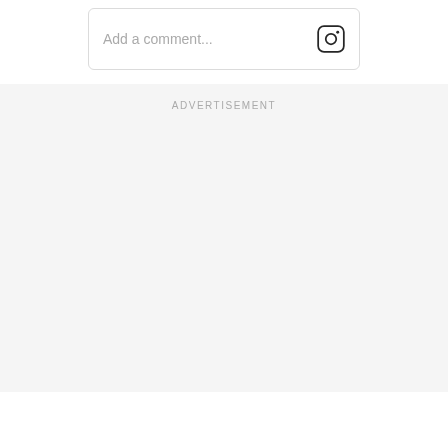[Figure (screenshot): Instagram comment input box with placeholder text 'Add a comment...' and Instagram logo icon on the right]
ADVERTISEMENT
[Figure (screenshot): Instagram profile card for user 'thereallukeevans' with verified badge and 'View profile' button]